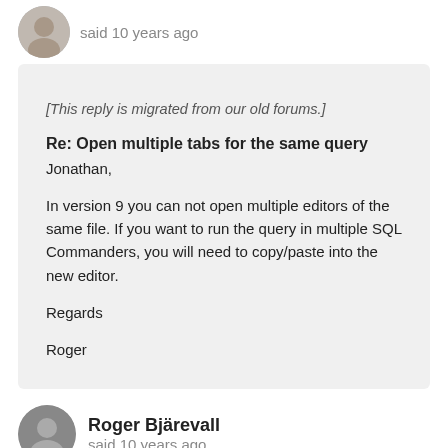said 10 years ago
[This reply is migrated from our old forums.]

Re: Open multiple tabs for the same query
Jonathan,

In version 9 you can not open multiple editors of the same file. If you want to run the query in multiple SQL Commanders, you will need to copy/paste into the new editor.

Regards

Roger
Roger Bjärevall
said 10 years ago
[This reply is migrated from our old forums.]